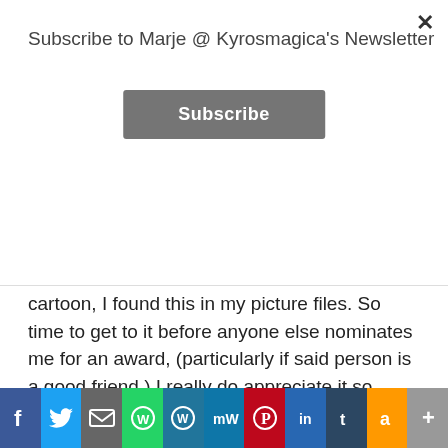Subscribe to Marje @ Kyrosmagica's Newsletter
Subscribe
cartoon, I found this in my picture files. So time to get to it before anyone else nominates me for an award, (particularly if said person is a good friend.) I really do appreciate it so much but due to time constraints I just feel it's time to step back from these type of awards for now.
Advertisements
[Figure (logo): WooCommerce logo on purple/violet banner background]
Advertisements
Getting your team on the same page...
[Figure (infographic): Social media share bar with icons: Facebook, Twitter, Email, WhatsApp, WordPress, MeWe, Pinterest, LinkedIn, Tumblr, Amazon, Share]